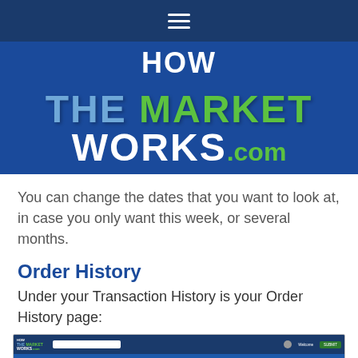[Figure (screenshot): HowTheMarketWorks.com website logo/header banner with navigation hamburger menu icon on dark blue background]
You can change the dates that you want to look at, in case you only want this week, or several months.
Order History
Under your Transaction History is your Order History page:
[Figure (screenshot): Screenshot of HowTheMarketWorks.com Order History page showing navigation menu with dropdown, portfolio value, cash balance, and buying power fields, and a table header row]